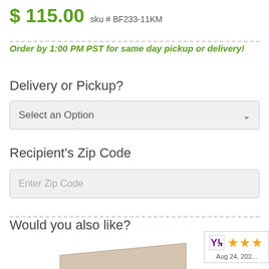$ 115.00  sku # BF233-11KM
Order by 1:00 PM PST for same day pickup or delivery!
Delivery or Pickup?
Select an Option
Recipient's Zip Code
Enter Zip Code
Would you also like?
[Figure (photo): Box of assorted chocolates with a red heart-shaped chocolate visible, open lid showing chocolates inside.]
[Figure (other): Rating badge with Yahoo logo and 3 orange stars, dated Aug 24, 20XX]